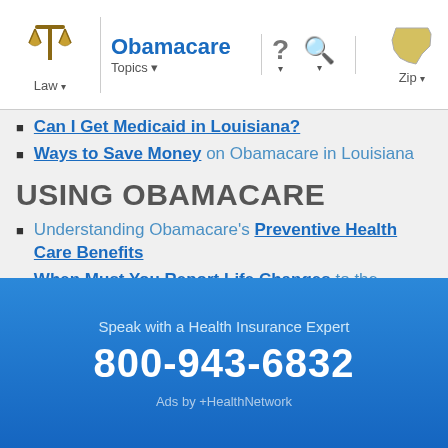Obamacare — Law | Topics | ? | Search | Zip (Louisiana)
Can I Get Medicaid in Louisiana?
Ways to Save Money on Obamacare in Louisiana
USING OBAMACARE
Understanding Obamacare's Preventive Health Care Benefits
When Must You Report Life Changes to the Louisiana Health Insurance Exchange?
OBAMACARE PROBLEMS
Get Help Finding a Health Insurance Plan in Acadia Parish
Speak with a Health Insurance Expert
800-943-6832
Ads by +HealthNetwork